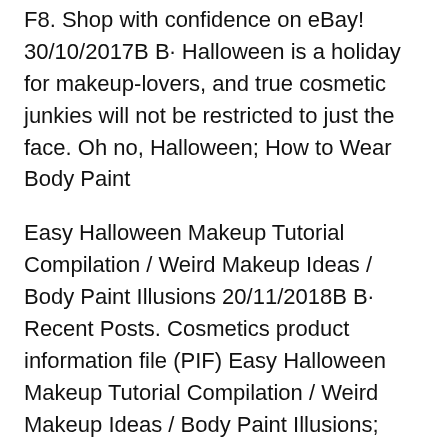F8. Shop with confidence on eBay! 30/10/2017B B· Halloween is a holiday for makeup-lovers, and true cosmetic junkies will not be restricted to just the face. Oh no, Halloween; How to Wear Body Paint
Easy Halloween Makeup Tutorial Compilation / Weird Makeup Ideas / Body Paint Illusions 20/11/2018B B· Recent Posts. Cosmetics product information file (PIF) Easy Halloween Makeup Tutorial Compilation / Weird Makeup Ideas / Body Paint Illusions; HALF MACHINE
Seriously Easy Homemade Face Paint. Here are some great tips and tricks for applying face paint for tons of Halloween This Tutorial For